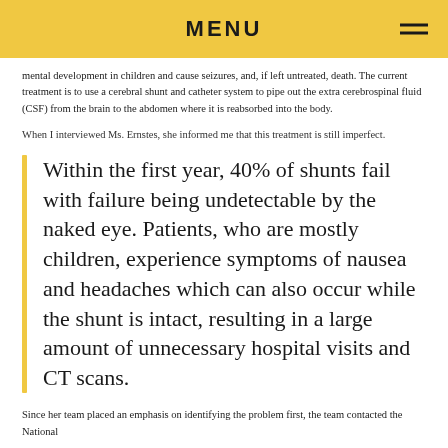MENU
mental development in children and cause seizures, and, if left untreated, death. The current treatment is to use a cerebral shunt and catheter system to pipe out the extra cerebrospinal fluid (CSF) from the brain to the abdomen where it is reabsorbed into the body.
When I interviewed Ms. Ernstes, she informed me that this treatment is still imperfect.
Within the first year, 40% of shunts fail with failure being undetectable by the naked eye. Patients, who are mostly children, experience symptoms of nausea and headaches which can also occur while the shunt is intact, resulting in a large amount of unnecessary hospital visits and CT scans.
Since her team placed an emphasis on identifying the problem first, the team contacted the National